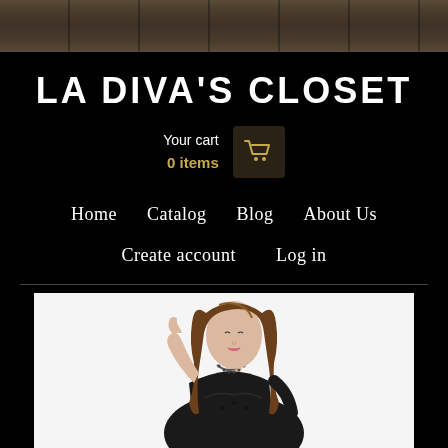[Figure (photo): Wood plank texture header background]
LA DIVA'S CLOSET
Your cart
0 items
[Figure (illustration): Shopping cart icon in golden/amber color on dark brown square background]
Home   Catalog   Blog   About Us
Create account   Log in
[Figure (photo): Fashion photo of a young woman with long wavy brown hair wearing a black sleeveless dress with floral embroidery and a beaded necklace, posing with her hand near her head against a white background]